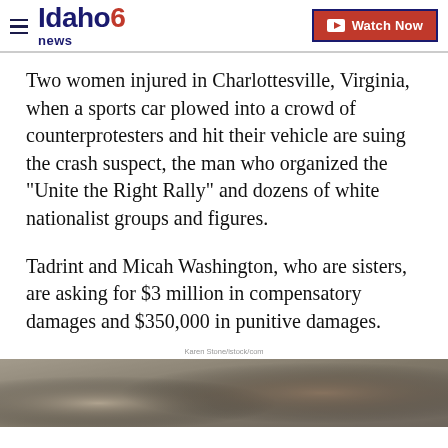Idaho News 6 — Watch Now
Two women injured in Charlottesville, Virginia, when a sports car plowed into a crowd of counterprotesters and hit their vehicle are suing the crash suspect, the man who organized the "Unite the Right Rally" and dozens of white nationalist groups and figures.
Tadrint and Micah Washington, who are sisters, are asking for $3 million in compensatory damages and $350,000 in punitive damages.
Karen Stone/istock/com
[Figure (photo): Bottom portion of a news photo showing people outdoors, partially visible]